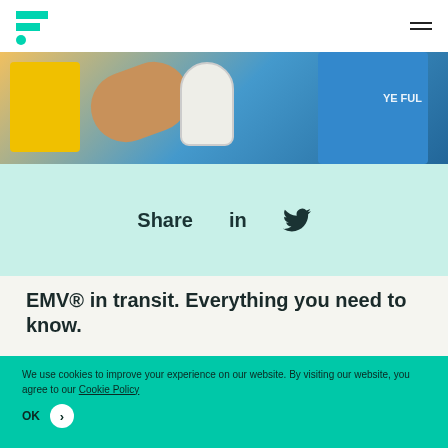[Logo mark] [Hamburger menu]
[Figure (photo): Photo showing a person holding a coffee cup near a yellow transit payment terminal, wearing a blue jacket]
Share  in  [Twitter icon]
EMV® in transit. Everything you need to know.
We use cookies to improve your experience on our website. By visiting our website, you agree to our Cookie Policy
OK >